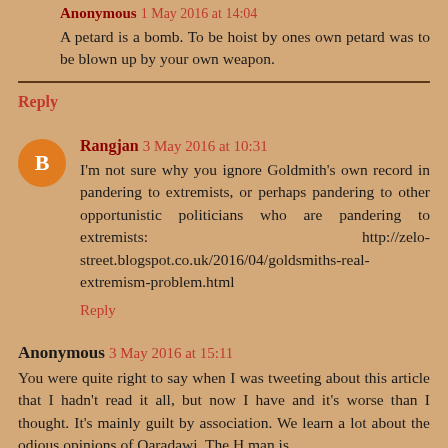Anonymous 1 May 2016 at 14:04
A petard is a bomb. To be hoist by ones own petard was to be blown up by your own weapon.
Reply
Rangjan 3 May 2016 at 10:31
I'm not sure why you ignore Goldmith's own record in pandering to extremists, or perhaps pandering to other opportunistic politicians who are pandering to extremists: http://zelo-street.blogspot.co.uk/2016/04/goldsmiths-real-extremism-problem.html
Reply
Anonymous 3 May 2016 at 15:11
You were quite right to say when I was tweeting about this article that I hadn't read it all, but now I have and it's worse than I thought. It's mainly guilt by association. We learn a lot about the odious opinions of Qaradawi. The H man is